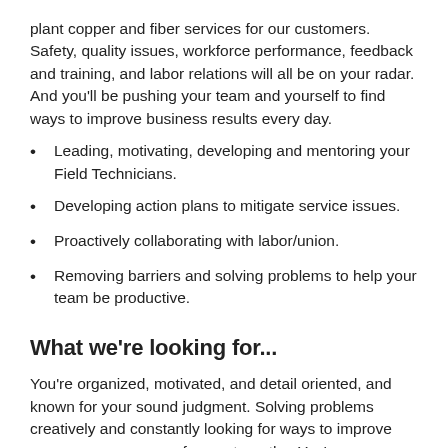plant copper and fiber services for our customers. Safety, quality issues, workforce performance, feedback and training, and labor relations will all be on your radar. And you'll be pushing your team and yourself to find ways to improve business results every day.
Leading, motivating, developing and mentoring your Field Technicians.
Developing action plans to mitigate service issues.
Proactively collaborating with labor/union.
Removing barriers and solving problems to help your team be productive.
What we're looking for...
You're organized, motivated, and detail oriented, and known for your sound judgment. Solving problems creatively and constantly looking for ways to improve processes are some of your strengths. You're comfortable holding people accountable for their performance and their adherence to policy, and you're